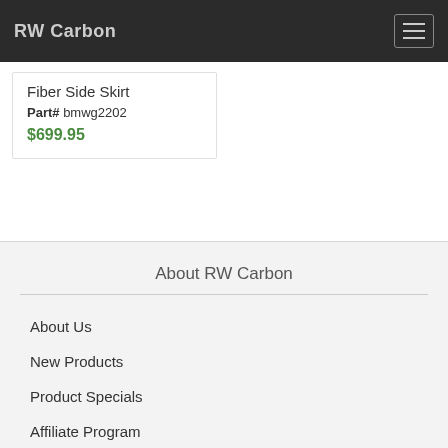RW Carbon
Fiber Side Skirt
Part# bmwg2202
$699.95
About RW Carbon
About Us
New Products
Product Specials
Affiliate Program
Meet Our Team